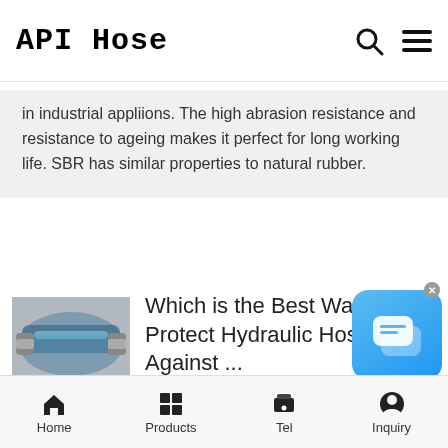API Hose
in industrial appliions. The high abrasion resistance and resistance to ageing makes it perfect for long working life. SBR has similar properties to natural rubber.
[Figure (photo): Photo of blue hydraulic hoses with metal fittings]
Which is the Best Way to Protect Hydraulic Hoses Against ...
Hose shields are available in 4, 6 and 8 inch lengths for hose I.D.s of ¼ to 2 inches. Hose shields are not recommended for appliions that experience heavy abrasion, particularly if more than just a small segment of the